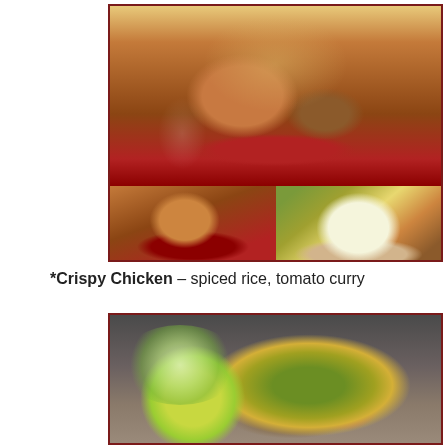[Figure (photo): Food photo collage showing crispy chicken dish with spiced rice and tomato curry sauce, served on a floral patterned plate. Top image shows full plate with herbs; bottom left shows side angle; bottom right shows spiced rice in a bowl.]
*Crispy Chicken – spiced rice, tomato curry
[Figure (photo): Food photo showing a dish on a plate with a lime wedge, grains/rice mixture with vegetables, served on a dark surface.]